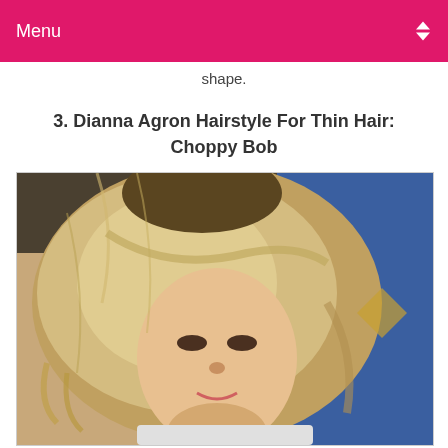Menu
shape.
3. Dianna Agron Hairstyle For Thin Hair: Choppy Bob
[Figure (photo): Photo of Dianna Agron with a choppy bob hairstyle, featuring layered blonde hair with dark roots, wispy bangs, and textured ends. Blue background visible behind her.]